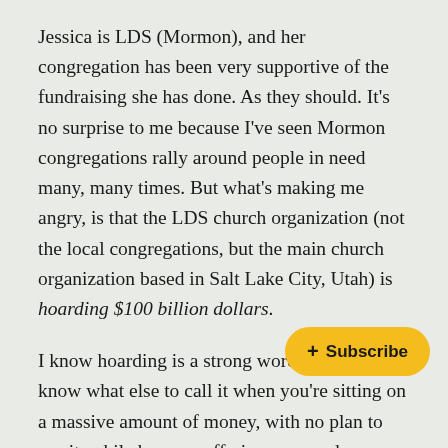Jessica is LDS (Mormon), and her congregation has been very supportive of the fundraising she has done. As they should. It's no surprise to me because I've seen Mormon congregations rally around people in need many, many times. But what's making me angry, is that the LDS church organization (not the local congregations, but the main church organization based in Salt Lake City, Utah) is hoarding $100 billion dollars.
I know hoarding is a strong word, but I don't know what else to call it when you're sitting on a massive amount of money, with no plan to use it, while human suffering surrounds you.
The public knows about this stash of money because a whistleblower leaked documents in [obscured] the dollar amount is probably a much higher number at this point because [obscured]